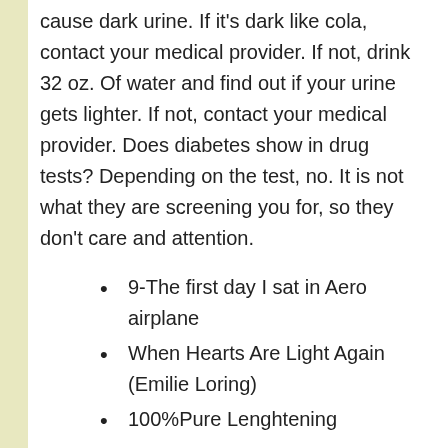cause dark urine. If it's dark like cola, contact your medical provider. If not, drink 32 oz. Of water and find out if your urine gets lighter. If not, contact your medical provider. Does diabetes show in drug tests? Depending on the test, no. It is not what they are screening you for, so they don't care and attention.
9-The first day I sat in Aero airplane
When Hearts Are Light Again (Emilie Loring)
100%Pure Lenghtening